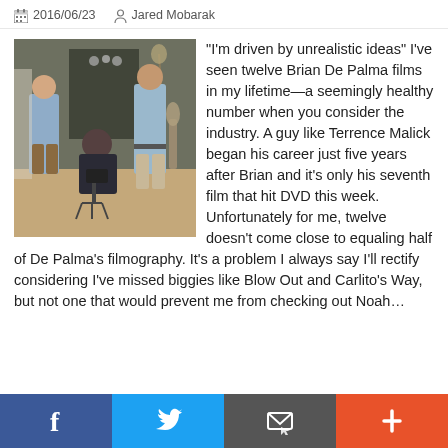2016/06/23   Jared Mobarak
[Figure (photo): Three men in a room with camera equipment; two standing and one seated behind a camera on a tripod.]
“I’m driven by unrealistic ideas” I’ve seen twelve Brian De Palma films in my lifetime—a seemingly healthy number when you consider the industry. A guy like Terrence Malick began his career just five years after Brian and it’s only his seventh film that hit DVD this week. Unfortunately for me, twelve doesn’t come close to equaling half of De Palma’s filmography. It’s a problem I always say I’ll rectify considering I’ve missed biggies like Blow Out and Carlito’s Way, but not one that would prevent me from checking out Noah…
f  [Twitter bird]  [Email icon]  +